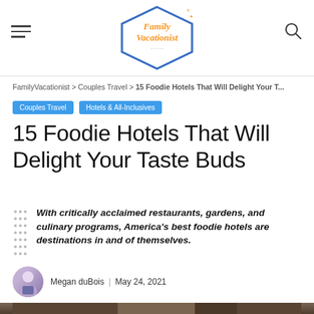Family Vacationist
FamilyVacationist > Couples Travel > 15 Foodie Hotels That Will Delight Your T...
Couples Travel
Hotels & All-Inclusives
15 Foodie Hotels That Will Delight Your Taste Buds
With critically acclaimed restaurants, gardens, and culinary programs, America's best foodie hotels are destinations in and of themselves.
Megan duBois | May 24, 2021
[Figure (photo): Photo of a smiling woman in a restaurant/bar setting with shelves of bottles in the background]